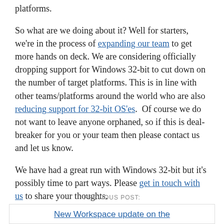platforms.
So what are we doing about it? Well for starters, we're in the process of expanding our team to get more hands on deck. We are considering officially dropping support for Windows 32-bit to cut down on the number of target platforms. This is in line with other teams/platforms around the world who are also reducing support for 32-bit OS'es.  Of course we do not want to leave anyone orphaned, so if this is deal-breaker for you or your team then please contact us and let us know.
We have had a great run with Windows 32-bit but it's possibly time to part ways. Please get in touch with us to share your thoughts.
PREVIOUS POST:
New Workspace update on the